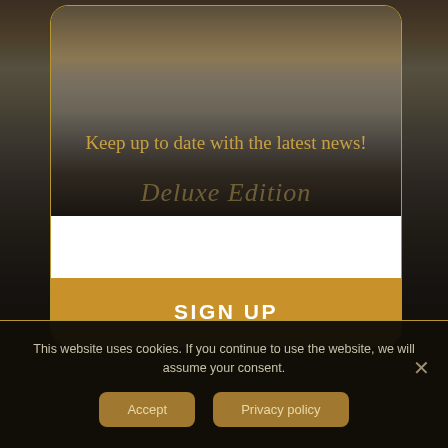[Figure (photo): Dark atmospheric photo of a woman with arms raised, used as modal background image]
Keep up to date with the latest news!
Deluxe Edition
SHOP
SIGN UP
This website uses cookies. If you continue to use the website, we will assume your consent.
Accept
Privacy policy